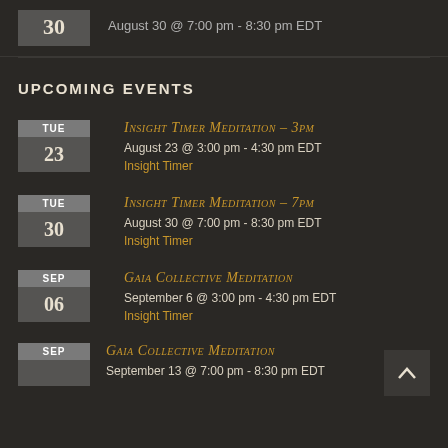August 30 @ 7:00 pm - 8:30 pm EDT
UPCOMING EVENTS
Insight Timer Meditation – 3pm
August 23 @ 3:00 pm - 4:30 pm EDT
Insight Timer
Insight Timer Meditation – 7pm
August 30 @ 7:00 pm - 8:30 pm EDT
Insight Timer
Gaia Collective Meditation
September 6 @ 3:00 pm - 4:30 pm EDT
Insight Timer
Gaia Collective Meditation
September 13 @ 7:00 pm - 8:30 pm EDT